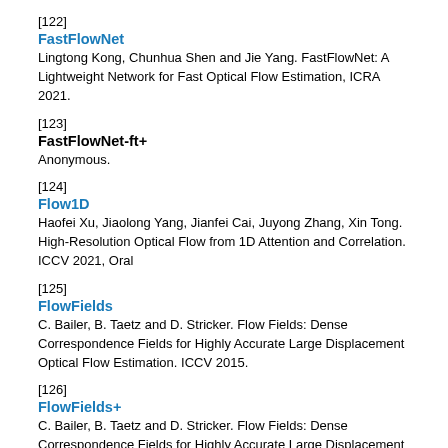[122]
FastFlowNet
Lingtong Kong, Chunhua Shen and Jie Yang. FastFlowNet: A Lightweight Network for Fast Optical Flow Estimation, ICRA 2021.
[123]
FastFlowNet-ft+
Anonymous.
[124]
Flow1D
Haofei Xu, Jiaolong Yang, Jianfei Cai, Juyong Zhang, Xin Tong. High-Resolution Optical Flow from 1D Attention and Correlation. ICCV 2021, Oral
[125]
FlowFields
C. Bailer, B. Taetz and D. Stricker. Flow Fields: Dense Correspondence Fields for Highly Accurate Large Displacement Optical Flow Estimation. ICCV 2015.
[126]
FlowFields+
C. Bailer, B. Taetz and D. Stricker. Flow Fields: Dense Correspondence Fields for Highly Accurate Large Displacement